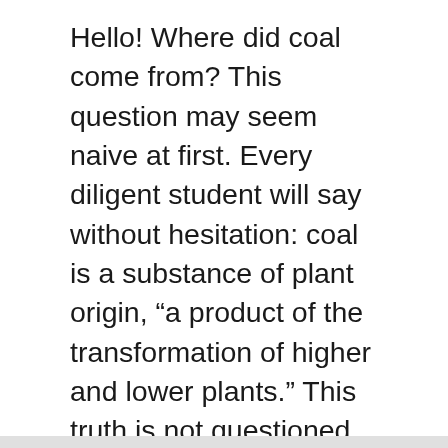Hello! Where did coal come from? This question may seem naive at first. Every diligent student will say without hesitation: coal is a substance of plant origin, “a product of the transformation of higher and lower plants.” This truth is not questioned in any textbook or popular book.
About us
Contact
Privacy Policy & Cookies
ATTENTION TO RIGHT HOLDERS! All materials are posted on the site strictly for informational and educational purposes! If